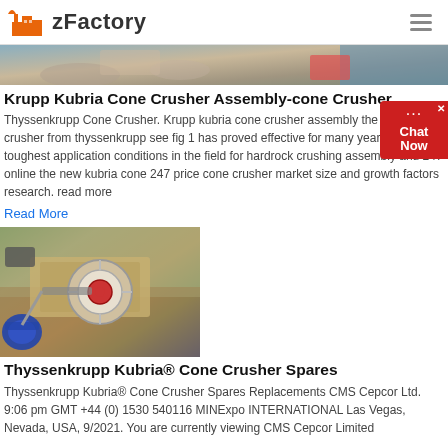zFactory
[Figure (photo): Partial view of a cone crusher assembly in an outdoor setting]
Krupp Kubria Cone Crusher Assembly-cone Crusher
Thyssenkrupp Cone Crusher. Krupp kubria cone crusher assembly the kubria cone crusher from thyssenkrupp see fig 1 has proved effective for many years under the toughest application conditions in the field for hardrock crushing assembly and 247 online the new kubria cone 247 price cone crusher market size and growth factors research. read more
Read More
[Figure (photo): Thyssenkrupp Kubria jaw/cone crusher machine outdoors with blue motor]
Thyssenkrupp Kubria® Cone Crusher Spares
Thyssenkrupp Kubria® Cone Crusher Spares Replacements CMS Cepcor Ltd. 9:06 pm GMT +44 (0) 1530 540116 MINExpo INTERNATIONAL Las Vegas, Nevada, USA, 9/2021. You are currently viewing CMS Cepcor Limited